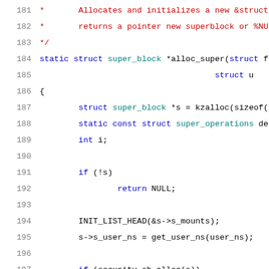[Figure (screenshot): Source code listing lines 181-201 showing C kernel code for alloc_super function with syntax highlighting. Line numbers in gray on the left, code in various colors (red for comments, blue/teal for keywords and identifiers).]